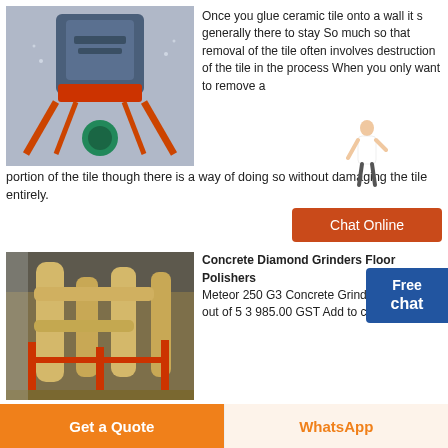[Figure (photo): Industrial grinder machine with blue body, red accents, and green motor, viewed from front]
Once you glue ceramic tile onto a wall it s generally there to stay So much so that removal of the tile often involves destruction of the tile in the process When you only want to remove a portion of the tile though there is a way of doing so without damaging the tile entirely.
[Figure (photo): Industrial building interior with large yellow/beige equipment pipes and red metal frames]
Concrete Diamond Grinders Floor Polishers
Meteor 250 G3 Concrete Grinder Rated 5.00 out of 5 3 985.00 GST Add to cart Compare